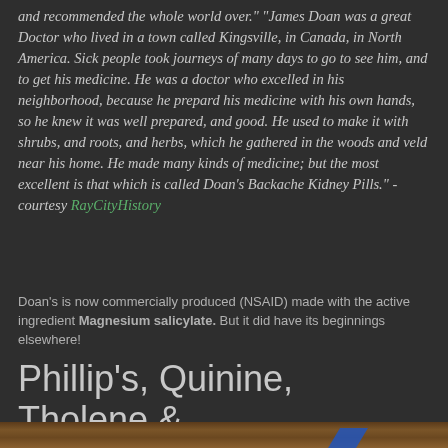and recommended the whole world over." "James Doan was a great Doctor who lived in a town called Kingsville, in Canada, in North America. Sick people took journeys of many days to go to see him, and to get his medicine. He was a doctor who excelled in his neighborhood, because he prepard his medicine with his own hands, so he knew it was well prepared, and good. He used to make it with shrubs, and roots, and herbs, which he gathered in the woods and veld near his home. He made many kinds of medicine; but the most excellent is that which is called Doan's Backache Kidney Pills." -courtesy RayCityHistory
Doan's is now commercially produced (NSAID) made with the active ingredient Magnesium salicylate. But it did have its beginnings elsewhere!
Phillip's, Quinine, Tholene & MercuroChrome...
[Figure (photo): Bottom portion of a photo showing a wooden surface with grain texture and a blue triangular object in the lower right area]